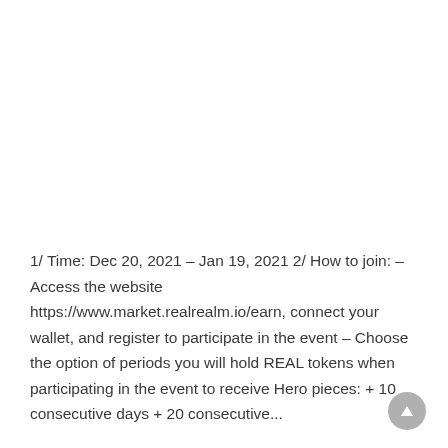1/ Time: Dec 20, 2021 – Jan 19, 2021 2/ How to join: – Access the website https://www.market.realrealm.io/earn, connect your wallet, and register to participate in the event – Choose the option of periods you will hold REAL tokens when participating in the event to receive Hero pieces: + 10 consecutive days + 20 consecutive...